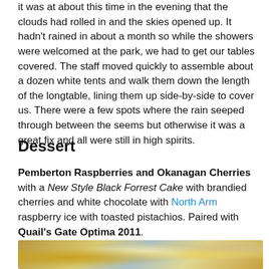it was at about this time in the evening that the clouds had rolled in and the skies opened up. It hadn't rained in about a month so while the showers were welcomed at the park, we had to get our tables covered. The staff moved quickly to assemble about a dozen white tents and walk them down the length of the longtable, lining them up side-by-side to cover us. There were a few spots where the rain seeped through between the seems but otherwise it was a great fix and all were still in high spirits.
Dessert
Pemberton Raspberries and Okanagan Cherries with a New Style Black Forrest Cake with brandied cherries and white chocolate with North Arm raspberry ice with toasted pistachios. Paired with Quail's Gate Optima 2011.
[Figure (photo): Partial photo showing table setting with glasses and food items at an outdoor event]